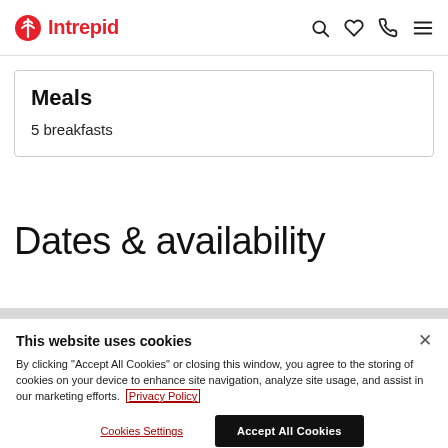Intrepid [navigation icons: search, heart, phone, menu]
Meals
5 breakfasts
Dates & availability
This website uses cookies
By clicking "Accept All Cookies" or closing this window, you agree to the storing of cookies on your device to enhance site navigation, analyze site usage, and assist in our marketing efforts. Privacy Policy
Cookies Settings | Accept All Cookies